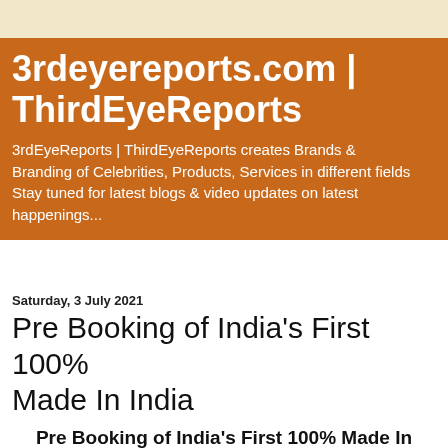3rdeyereports.com | ThirdEyeReports
3rdEyeReports | ThirdEyeReports creates Brands & Branding of Celebrities, Products, Services in different fields Stay tuned for latest blogs & video updates on latest happenings...
Saturday, 3 July 2021
Pre Booking of India’s First 100% Made In India
Pre Booking of India’s First 100% Made In India
E-Cycles Starts, Nahak Motors to Home Deliver